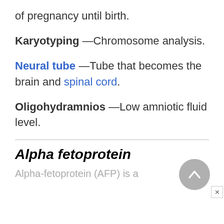of pregnancy until birth.
Karyotyping —Chromosome analysis.
Neural tube —Tube that becomes the brain and spinal cord.
Oligohydramnios —Low amniotic fluid level.
Alpha fetoprotein
Alpha-fetoprotein (AFP) is a